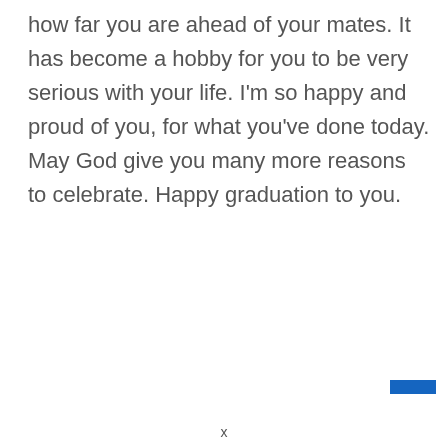how far you are ahead of your mates. It has become a hobby for you to be very serious with your life. I'm so happy and proud of you, for what you've done today. May God give you many more reasons to celebrate. Happy graduation to you.